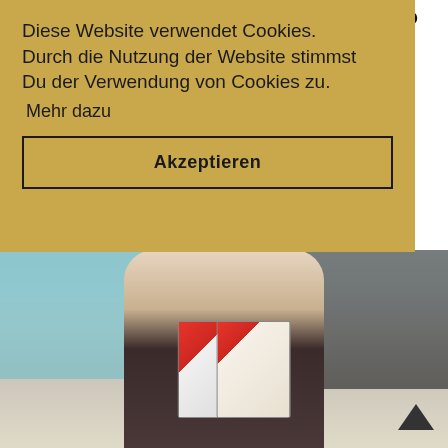LUST AUF BÜCHER?
Diese Website verwendet Cookies. Durch die Nutzung der Website stimmst Du der Verwendung von Cookies zu.
Mehr dazu
Akzeptieren
[Figure (photo): Young woman with long blonde hair holding two Manga Preview magazines in front of her face, wearing a leopard print dress. Background shows a teal colored wall and a dark poster with a face on the right side.]